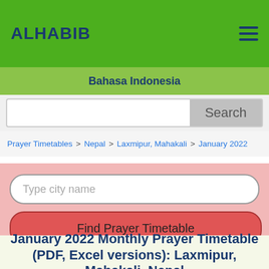ALHABIB
Bahasa Indonesia
Search
Prayer Timetables > Nepal > Laxmipur, Mahakali > January 2022
Type city name
Find Prayer Timetable
January 2022 Monthly Prayer Timetable (PDF, Excel versions): Laxmipur, Mahakali, Nepal